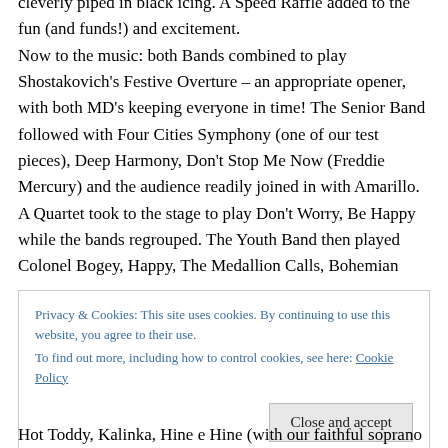cleverly piped in black icing. A Speed Raffle added to the fun (and funds!) and excitement. Now to the music: both Bands combined to play Shostakovich's Festive Overture – an appropriate opener, with both MD's keeping everyone in time! The Senior Band followed with Four Cities Symphony (one of our test pieces), Deep Harmony, Don't Stop Me Now (Freddie Mercury) and the audience readily joined in with Amarillo. A Quartet took to the stage to play Don't Worry, Be Happy while the bands regrouped. The Youth Band then played Colonel Bogey, Happy, The Medallion Calls, Bohemian
Privacy & Cookies: This site uses cookies. By continuing to use this website, you agree to their use. To find out more, including how to control cookies, see here: Cookie Policy
Hot Toddy, Kalinka, Hine e Hine (with our faithful soprano